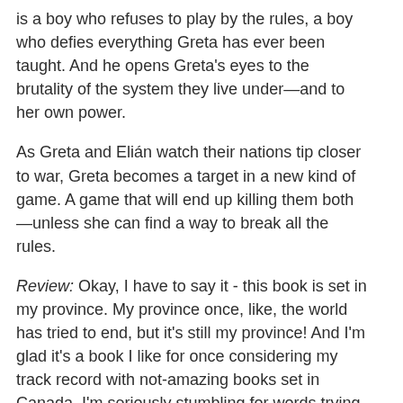is a boy who refuses to play by the rules, a boy who defies everything Greta has ever been taught. And he opens Greta's eyes to the brutality of the system they live under—and to her own power.
As Greta and Elián watch their nations tip closer to war, Greta becomes a target in a new kind of game. A game that will end up killing them both—unless she can find a way to break all the rules.
Review: Okay, I have to say it - this book is set in my province. My province once, like, the world has tried to end, but it's still my province! And I'm glad it's a book I like for once considering my track record with not-amazing books set in Canada. I'm seriously stumbling for words trying to summarize my thoughts, but I really, really did enjoy this.
Bow has a gift for distinct, vibrant voices. There are two different narrators. Between a prologue that is one of the best done prologues I've read in a long time, and the book, those narrators are very, very different. The prologue's narrator is casual, very snappy, and callous, and I loved it.